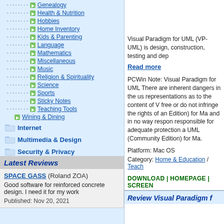Genealogy
Health & Nutrition
Hobbies
Home Inventory
Kids & Parenting
Language
Mathematics
Miscellaneous
Music
Religion & Spirituality
Science
Sports
Sticky Notes
Teaching Tools
Wining & Dining
Internet
Multimedia & Design
Security & Privacy
Software Development
Utilities
Web Authoring
Latest Reviews
SPACE GASS (Roland ZOA)
Good software for reinforced concrete design. I need it for my work
Published: Nov 20, 2021
Visual Paradigm for UML (VP-UML) is design, construction, testing and dep
Read more
PCWin Note: Visual Paradigm for UML There are inherent dangers in the us representations as to the content of V free or do not infringe the rights of an Edition) for Ma and in no way respon responsible for adequate protection a UML (Community Edition) for Ma.
Platform: Mac OS
Category: Home & Education / Teach
DOWNLOAD | HOMEPAGE | SCREEN
Review Visual Paradigm f